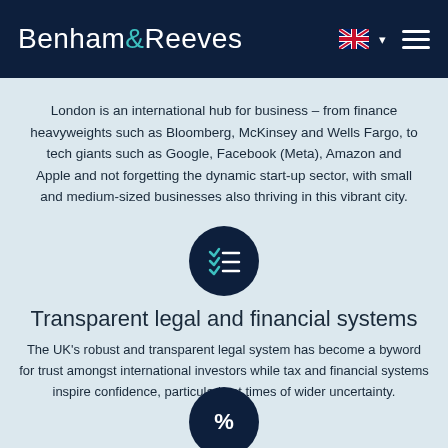Benham&Reeves
London is an international hub for business – from finance heavyweights such as Bloomberg, McKinsey and Wells Fargo, to tech giants such as Google, Facebook (Meta), Amazon and Apple and not forgetting the dynamic start-up sector, with small and medium-sized businesses also thriving in this vibrant city.
[Figure (illustration): Dark navy circular icon with checklist/task list symbol in white]
Transparent legal and financial systems
The UK's robust and transparent legal system has become a byword for trust amongst international investors while tax and financial systems inspire confidence, particularly at times of wider uncertainty.
[Figure (illustration): Dark navy circular icon with percent symbol in white, partially visible at bottom]